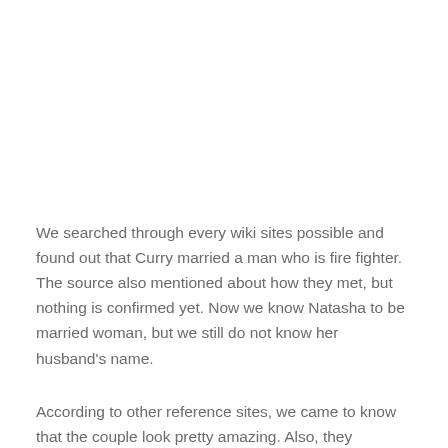We searched through every wiki sites possible and found out that Curry married a man who is fire fighter. The source also mentioned about how they met, but nothing is confirmed yet. Now we know Natasha to be married woman, but we still do not know her husband's name.
According to other reference sites, we came to know that the couple look pretty amazing. Also, they mentioned about both being co-operative